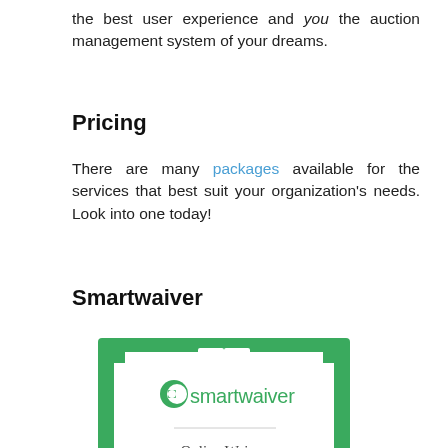the best user experience and you the auction management system of your dreams.
Pricing
There are many packages available for the services that best suit your organization's needs. Look into one today!
Smartwaiver
[Figure (logo): Smartwaiver logo card with green border, white interior, smartwaiver logo in green, a horizontal divider, and 'Online Waiver' text below]